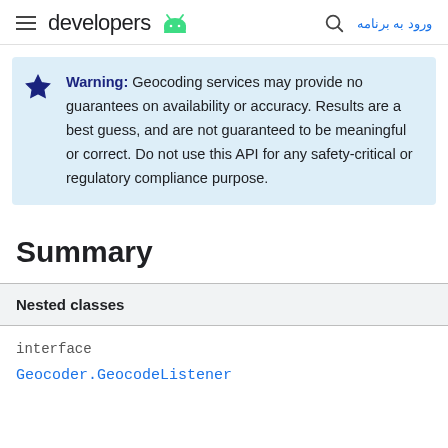developers ورود به برنامه
Warning: Geocoding services may provide no guarantees on availability or accuracy. Results are a best guess, and are not guaranteed to be meaningful or correct. Do not use this API for any safety-critical or regulatory compliance purpose.
Summary
| Nested classes |
| --- |
| interface | Geocoder.GeocodeListener |